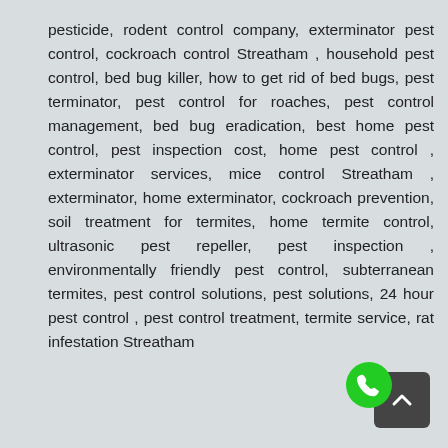pesticide, rodent control company, exterminator pest control, cockroach control Streatham , household pest control, bed bug killer, how to get rid of bed bugs, pest terminator, pest control for roaches, pest control management, bed bug eradication, best home pest control, pest inspection cost, home pest control , exterminator services, mice control Streatham , exterminator, home exterminator, cockroach prevention, soil treatment for termites, home termite control, ultrasonic pest repeller, pest inspection , environmentally friendly pest control, subterranean termites, pest control solutions, pest solutions, 24 hour pest control , pest control treatment, termite service, rat infestation Streatham
[Figure (other): Green phone/call icon circle overlapping a dark grey back-to-top button with an upward chevron arrow]